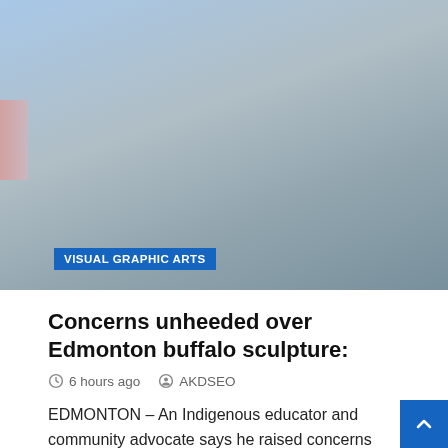[Figure (photo): Background photo of a blue-grey sky and mountain or landscape scene]
VISUAL GRAPHIC ARTS
Concerns unheeded over Edmonton buffalo sculpture:
6 hours ago   AKDSEO
EDMONTON – An Indigenous educator and community advocate says he raised concerns over a now-scrapped public art project that had been planned for Edmonton's river valley, but he was not listened to.
“If you’re going to have Indigenous consultations, you have to actually listen,” said Lewis Cardinal, who was part of the Wicihitowin Talking Circle, an Indigenous…